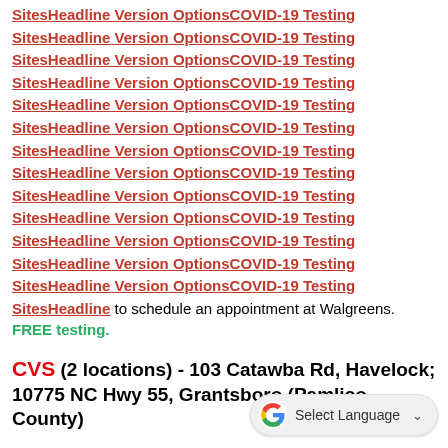SitesHeadline Version OptionsCOVID-19 Testing Sites (repeated 13 times as navigation links), then SitesHeadline to schedule an appointment at Walgreens. FREE testing.
CVS (2 locations) - 103 Catawba Rd, Havelock; 10775 NC Hwy 55, Grantsboro (Pamlico County)
Monday- Friday 9:30am- 5:15pm; Saturday 11:00am -3:45pm